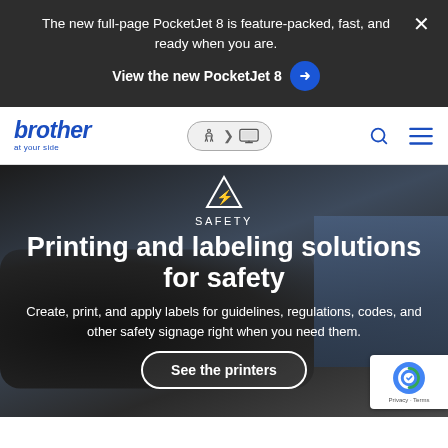The new full-page PocketJet 8 is feature-packed, fast, and ready when you are.
View the new PocketJet 8 →
[Figure (logo): Brother 'at your side' logo in blue]
[Figure (screenshot): Accessibility icon with arrow to laptop icon, search icon, hamburger menu icon]
[Figure (photo): Background photo of a Brother label printer on a work surface with a laptop in the background]
SAFETY
Printing and labeling solutions for safety
Create, print, and apply labels for guidelines, regulations, codes, and other safety signage right when you need them.
See the printers